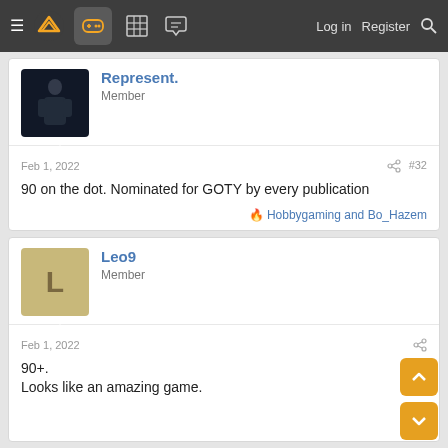Navigation bar with menu, logo, gamepad icon, forum icons, Log in, Register, Search
Represent.
Member
Feb 1, 2022  #32
90 on the dot. Nominated for GOTY by every publication
🔥 Hobbygaming and Bo_Hazem
Leo9
Member
Feb 1, 2022
90+.
Looks like an amazing game.